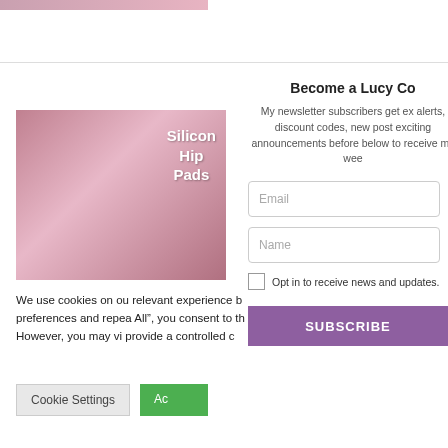[Figure (photo): Partial top image strip showing pink/skin tones at the top of page]
[Figure (illustration): Silicone Hip Pads product image showing a person's midsection with text overlay reading 'Silicone Hip Pads' on a pink background]
Become a Lucy Co
My newsletter subscribers get ex alerts, discount codes, new post exciting announcements before below to receive my wee
Email
Name
Opt in to receive news and updates.
SUBSCRIBE
We use cookies on ou relevant experience b preferences and repea All", you consent to th However, you may vi provide a controlled c
Cookie Settings
Ac